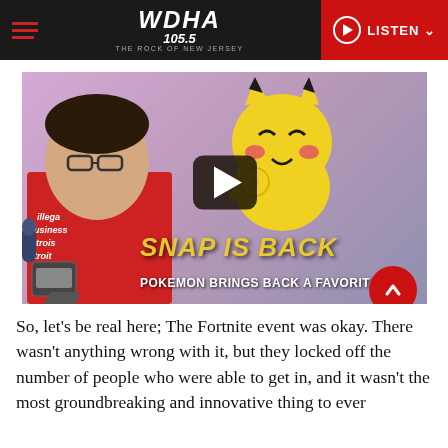WDHA 105.5 THE ROCK OF NEW JERSEY — LISTEN
[Figure (screenshot): YouTube-style video thumbnail showing a man in a red t-shirt on the left, a Pikachu character on a pink background, a play button overlay, and bold text reading 'SNAP IS BACK / POKEMON BRINGS BACK A FAVORITE']
So, let's be real here; The Fortnite event was okay. There wasn't anything wrong with it, but they locked off the number of people who were able to get in, and it wasn't the most groundbreaking and innovative thing to ever